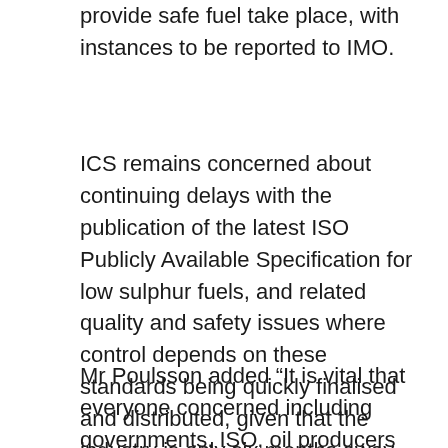provide safe fuel take place, with instances to be reported to IMO.
ICS remains concerned about continuing delays with the publication of the latest ISO Publicly Available Specification for low sulphur fuels, and related quality and safety issues where control depends on these standards being quickly finalised and distributed, given that the industry is only six months away from full global implementation.
Mr Poulsson added “It is vital that everyone concerned including governments, ISO, oil producers and bunker suppliers redouble their efforts to ensure that safe and compatible fuels – including 0.5% blends for the maritime industry